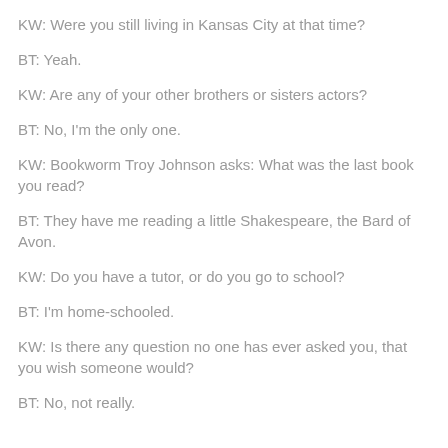KW: Were you still living in Kansas City at that time?
BT: Yeah.
KW: Are any of your other brothers or sisters actors?
BT: No, I'm the only one.
KW: Bookworm Troy Johnson asks: What was the last book you read?
BT: They have me reading a little Shakespeare, the Bard of Avon.
KW: Do you have a tutor, or do you go to school?
BT: I'm home-schooled.
KW: Is there any question no one has ever asked you, that you wish someone would?
BT: No, not really.